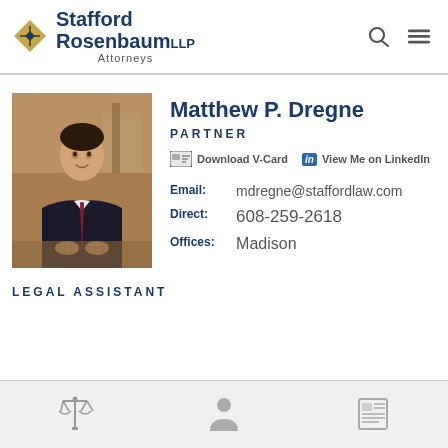[Figure (logo): Stafford Rosenbaum LLP Attorneys logo with diamond/chevron icon]
[Figure (photo): Professional headshot of Matthew P. Dregne, a man in dark suit with red tie, seated in a business setting]
Matthew P. Dregne
PARTNER
Download V-Card   in View Me on LinkedIn
Email: mdregne@staffordlaw.com
Direct: 608-259-2618
Offices: Madison
LEGAL ASSISTANT
[Figure (infographic): Bottom navigation bar with three icons: scales of justice, person/profile, and newspaper/document]